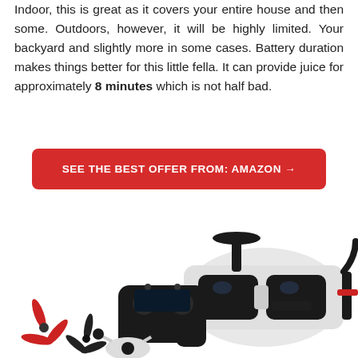Indoor, this is great as it covers your entire house and then some. Outdoors, however, it will be highly limited. Your backyard and slightly more in some cases. Battery duration makes things better for this little fella. It can provide juice for approximately 8 minutes which is not half bad.
[Figure (other): Red button with white text: SEE THE BEST OFFER FROM: AMAZON →]
[Figure (photo): Product photo showing a drone racing set with VR goggles/headset (white and black), a remote controller (black), drone propellers (red and black), and a small drone, arranged on a white background.]